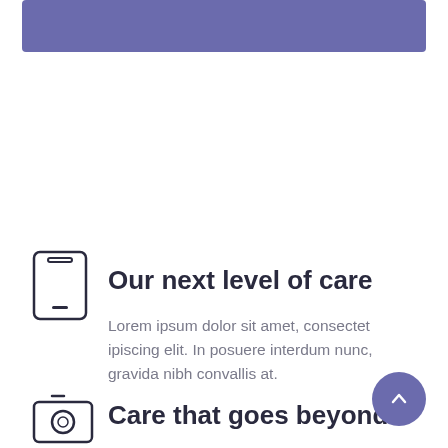[Figure (other): Purple/violet horizontal banner bar at top of page]
[Figure (illustration): Smartphone/mobile phone outline icon]
Our next level of care
Lorem ipsum dolor sit amet, consectet ipiscing elit. In posuere interdum nunc, gravida nibh convallis at.
[Figure (illustration): Camera outline icon]
Care that goes beyond
[Figure (other): Purple circular scroll-to-top button with upward chevron]